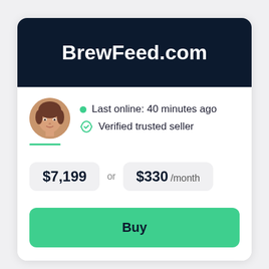BrewFeed.com
[Figure (photo): Circular avatar photo of a woman with brown hair]
Last online: 40 minutes ago
Verified trusted seller
$7,199 or $330 /month
Buy